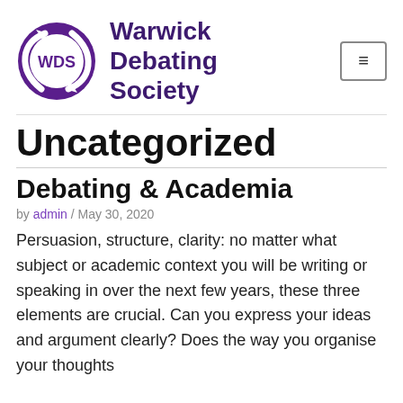[Figure (logo): Warwick Debating Society logo: purple circular arrows with WDS text in the center]
Warwick Debating Society
Uncategorized
Debating & Academia
by admin / May 30, 2020
Persuasion, structure, clarity: no matter what subject or academic context you will be writing or speaking in over the next few years, these three elements are crucial. Can you express your ideas and argument clearly? Does the way you organise your thoughts